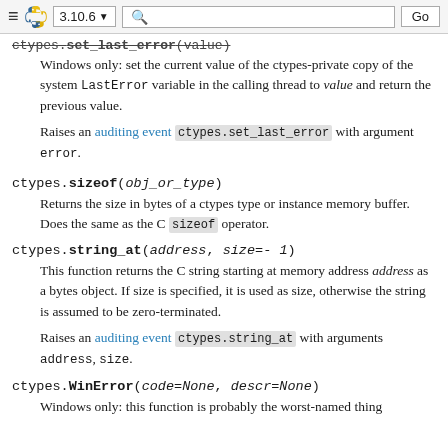≡ 🐍 3.10.6 ▼ [search] Go
ctypes.set_last_error(value)
Windows only: set the current value of the ctypes-private copy of the system LastError variable in the calling thread to value and return the previous value.
Raises an auditing event ctypes.set_last_error with argument error.
ctypes.sizeof(obj_or_type)
Returns the size in bytes of a ctypes type or instance memory buffer. Does the same as the C sizeof operator.
ctypes.string_at(address, size=-1)
This function returns the C string starting at memory address address as a bytes object. If size is specified, it is used as size, otherwise the string is assumed to be zero-terminated.
Raises an auditing event ctypes.string_at with arguments address, size.
ctypes.WinError(code=None, descr=None)
Windows only: this function is probably the worst-named thing